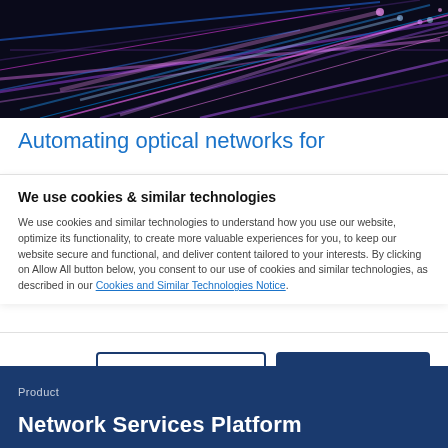[Figure (photo): Dark background with streaks of bright blue, purple, and pink light resembling fiber optic cables or high-speed data streams.]
Automating optical networks for
We use cookies & similar technologies
We use cookies and similar technologies to understand how you use our website, optimize its functionality, to create more valuable experiences for you, to keep our website secure and functional, and deliver content tailored to your interests. By clicking on Allow All button below, you consent to our use of cookies and similar technologies, as described in our Cookies and Similar Technologies Notice.
Manage preferences
Accept all
Product
Network Services Platform